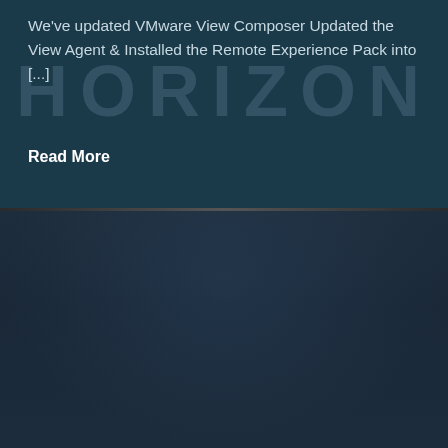We've updated VMware View Composer Updated the View Agent & Installed the Remote Experience Pack into [...]
Read More
CREATING A NEW DESKTOP POOL IN HORIZON VIEW 5.2
Over the last few blog posts we've taken our existing VMware View 5.1 environment and upgraded it to VMware Horizon View 5.2.  Along the way we did